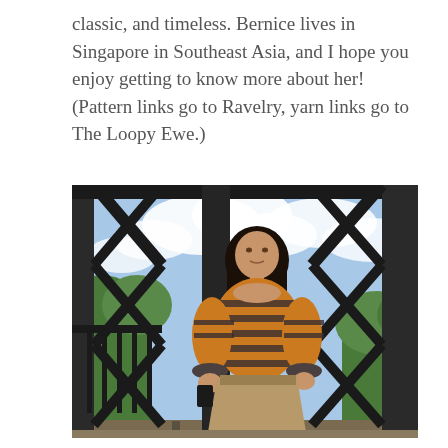classic, and timeless. Bernice lives in Singapore in Southeast Asia, and I hope you enjoy getting to know more about her! (Pattern links go to Ravelry, yarn links go to The Loopy Ewe.)
[Figure (photo): A woman with a short black bob haircut stands outdoors on a metal truss bridge structure. She is wearing an orange/mustard striped knit sweater with dark horizontal stripes and a tan/khaki skirt. She holds a small dark bag. The background shows the black steel lattice framework of the bridge, with green trees and a partly cloudy blue sky visible beyond.]